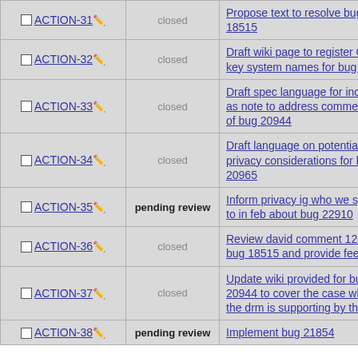| Action | Status | Description |
| --- | --- | --- |
| ACTION-31 | closed | Propose text to resolve bug 18515 |
| ACTION-32 | closed | Draft wiki page to register CDM key system names for bug 20944 |
| ACTION-33 | closed | Draft spec language for inclusion as note to address comment #15 of bug 20944 |
| ACTION-34 | closed | Draft language on potential privacy considerations for bug 20965 |
| ACTION-35 | pending review | Inform privacy ig who we spoke to in feb about bug 22910 |
| ACTION-36 | closed | Review david comment 12 on bug 18515 and provide feedback |
| ACTION-37 | closed | Update wiki provided for bug 20944 to cover the case where the drm is supporting by the os |
| ACTION-38 | pending review | Implement bug 21854 |